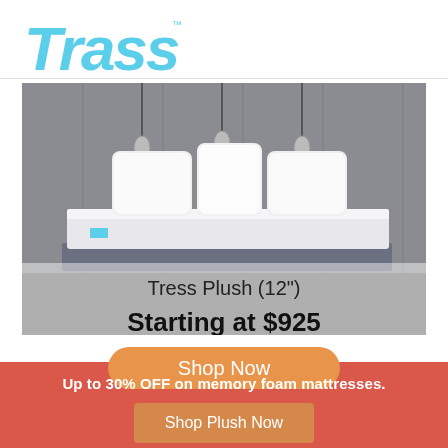[Figure (logo): Trass/Tress brand logo in light blue italic bold font with TM mark]
[Figure (photo): A gray-toned bedroom scene with a plush mattress on a bed frame, multiple white pillows, pendant lights hanging from ceiling. The mattress label reads 'Tress Plush (12")' and below 'Starting at $925']
Tress Plush (12")
Starting at $925
[Figure (other): Orange rounded button labeled 'Shop Now']
Up to 30% OFF on memory foam mattresses.
[Figure (other): Orange button labeled 'Shop Plush Now' on red-coral banner]